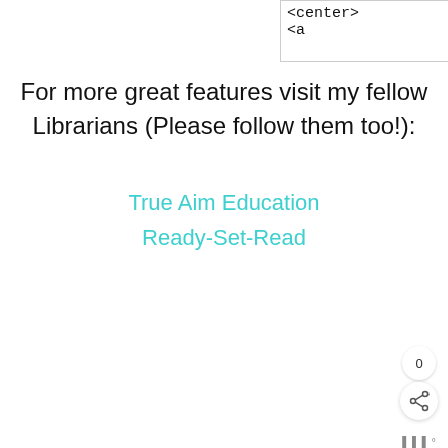[Figure (screenshot): A text input box showing HTML code: '<center>' on top line partially visible, '<a' on second line, with resize handle at bottom right]
For more great features visit my fellow Librarians (Please follow them too!):
True Aim Education
Ready-Set-Read